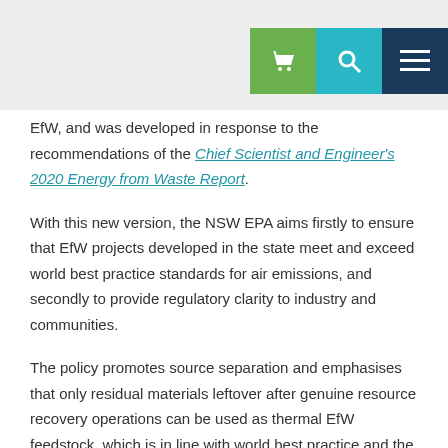Navigation header with cart, search, and menu icons
EfW, and was developed in response to the recommendations of the Chief Scientist and Engineer's 2020 Energy from Waste Report.
With this new version, the NSW EPA aims firstly to ensure that EfW projects developed in the state meet and exceed world best practice standards for air emissions, and secondly to provide regulatory clarity to industry and communities.
The policy promotes source separation and emphasises that only residual materials leftover after genuine resource recovery operations can be used as thermal EfW feedstock, which is in line with world best practice and the waste management hierarchy. The requirement that facilities demonstrate that at least 25% of energy generated is captured as electricity, and any residual heat is recovered as far as practicable, is also in line with the globally recognised R1 Indicator of 0.65.